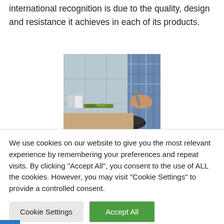international recognition is due to the quality, design and resistance it achieves in each of its products.
[Figure (photo): A person cooking food in a pan on a stovetop, wearing a blue plaid shirt, with herbs and seasoning containers visible in the background.]
We use cookies on our website to give you the most relevant experience by remembering your preferences and repeat visits. By clicking "Accept All", you consent to the use of ALL the cookies. However, you may visit "Cookie Settings" to provide a controlled consent.